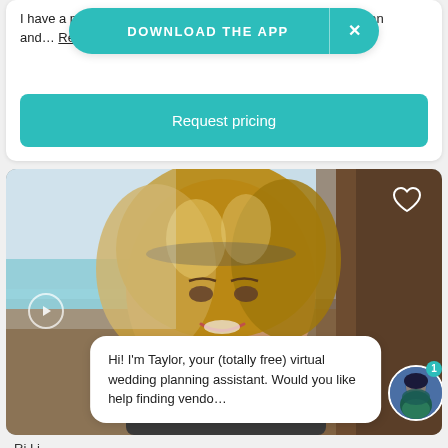I have a passion for travel - I treat my clients as family. We plan... and... Read more
[Figure (screenshot): Download the app banner overlay (teal rounded pill with 'DOWNLOAD THE APP' text and X close button)]
Request pricing
[Figure (photo): Portrait photo of a smiling woman with curly blonde hair at a beach, with a heart icon in the top right and play button in the bottom left]
Hi! I'm Taylor, your (totally free) virtual wedding planning assistant. Would you like help finding vendo...